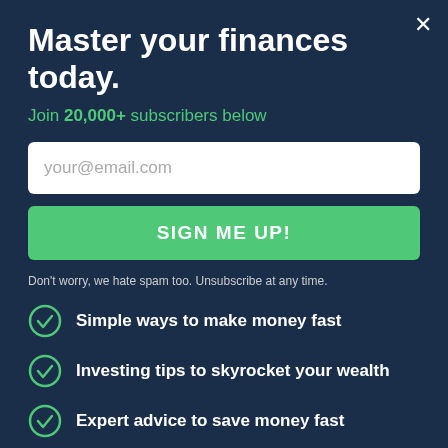Master your finances today.
Join 20,000+ subscribers below
your@email.com
SIGN ME UP!
Don't worry, we hate spam too. Unsubscribe at any time.
Simple ways to make money fast
Investing tips to skyrocket your wealth
Expert advice to save money fast
But, making money on Snapchat can be a little more straightforward than making money on platforms like Facebook. Snapchat spotlight and other tools are a great way to get attention